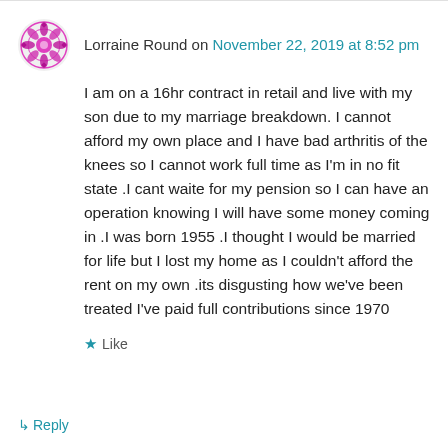Lorraine Round on November 22, 2019 at 8:52 pm
I am on a 16hr contract in retail and live with my son due to my marriage breakdown. I cannot afford my own place and I have bad arthritis of the knees so I cannot work full time as I'm in no fit state .I cant waite for my pension so I can have an operation knowing I will have some money coming in .I was born 1955 .I thought I would be married for life but I lost my home as I couldn't afford the rent on my own .its disgusting how we've been treated I've paid full contributions since 1970
Like
Reply